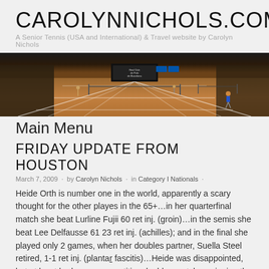CAROLYNNICHOLS.COM
A Senior Tennis (USA and International) & Travel website by Carolyn Nichols
[Figure (photo): Wide panoramic photo of clay tennis courts inside an indoor facility, with players on court and a scoreboard visible in the background. The courts have orange/red clay surface with white lines.]
Main Menu
FRIDAY UPDATE FROM HOUSTON
March 7, 2009 · by Carolyn Nichols · in Category I Nationals ·
Heide Orth is number one in the world, apparently a scary thought for the other playes in the 65+…in her quarterfinal match she beat Lurline Fujii 60 ret inj. (groin)…in the semis she beat Lee Delfausse 61 23 ret inj. (achilles); and in the final she played only 2 games, when her doubles partner, Suella Steel retired, 1-1 ret inj. (plantar fascitis)…Heide was disappointed, but at least had some competitive doubles matches winning the semis and finals in 3 sets…maybe she